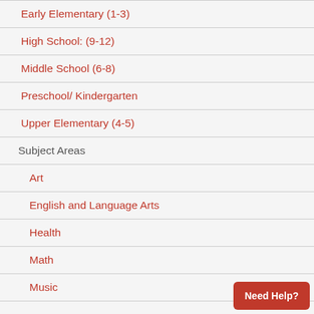Early Elementary (1-3)
High School: (9-12)
Middle School (6-8)
Preschool/ Kindergarten
Upper Elementary (4-5)
Subject Areas
Art
English and Language Arts
Health
Math
Music